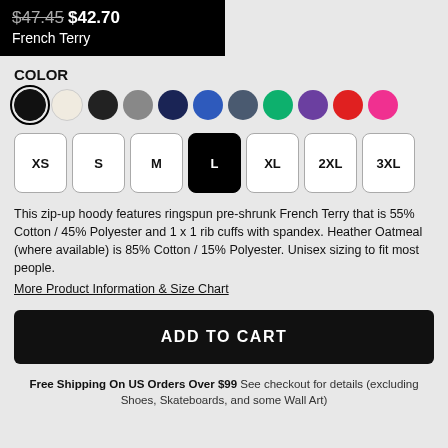$47.45 $42.70 French Terry
COLOR
[Figure (other): Color swatches: black (selected), cream/oatmeal, dark charcoal, gray, navy, royal blue, slate, green, purple, red, hot pink]
[Figure (other): Size selector buttons: XS, S, M, L (selected/black), XL, 2XL, 3XL]
This zip-up hoody features ringspun pre-shrunk French Terry that is 55% Cotton / 45% Polyester and 1 x 1 rib cuffs with spandex. Heather Oatmeal (where available) is 85% Cotton / 15% Polyester. Unisex sizing to fit most people.
More Product Information & Size Chart
ADD TO CART
Free Shipping On US Orders Over $99 See checkout for details (excluding Shoes, Skateboards, and some Wall Art)